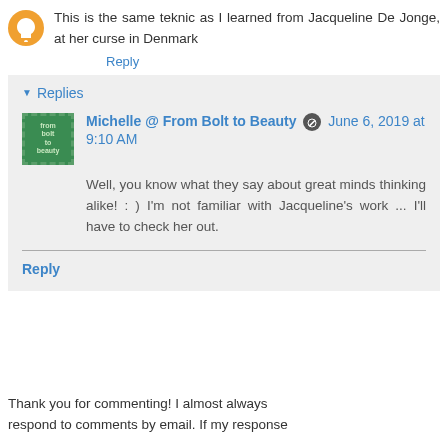This is the same teknic as I learned from Jacqueline De Jonge, at her curse in Denmark
Reply
▼ Replies
Michelle @ From Bolt to Beauty  June 6, 2019 at 9:10 AM
Well, you know what they say about great minds thinking alike! : ) I'm not familiar with Jacqueline's work ... I'll have to check her out.
Reply
Thank you for commenting! I almost always respond to comments by email. If my response